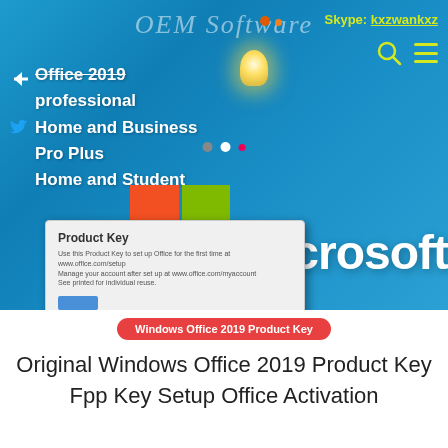[Figure (photo): Microsoft Office 2019 product promotional image showing a Microsoft store backdrop with the Microsoft logo (four colored squares), 'Microsoft' text in white, a physical product key card, navigation menu items overlay, OEM Software watermark, Skype contact info, and navigation icons.]
Windows Office 2019 Product Key
Original Windows Office 2019 Product Key Fpp Key Setup Office Activation